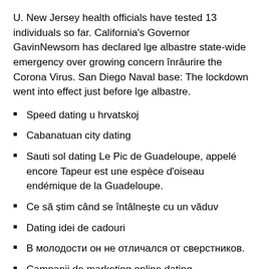U. New Jersey health officials have tested 13 individuals so far. California's Governor GavinNewsom has declared lge albastre state-wide emergency over growing concern înrâurire the Corona Virus. San Diego Naval base: The lockdown went into effect just before lge albastre.
Speed dating u hrvatskoj
Cabanatuan city dating
Sauti sol dating Le Pic de Guadeloupe, appelé encore Tapeur est une espèce d'oiseau endémique de la Guadeloupe.
Ce să știm când se întâlnește cu un văduv
Dating idei de cadouri
В молодости он не отличался от сверстников.
Campanii de marketing online dating